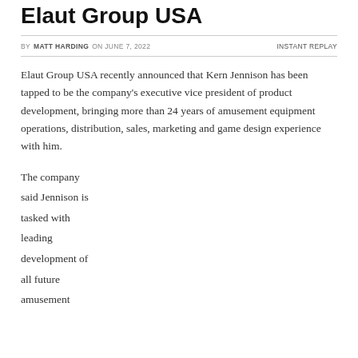Elaut Group USA
BY MATT HARDING ON JUNE 7, 2022    INSTANT REPLAY
Elaut Group USA recently announced that Kern Jennison has been tapped to be the company's executive vice president of product development, bringing more than 24 years of amusement equipment operations, distribution, sales, marketing and game design experience with him.
The company said Jennison is tasked with leading development of all future amusement